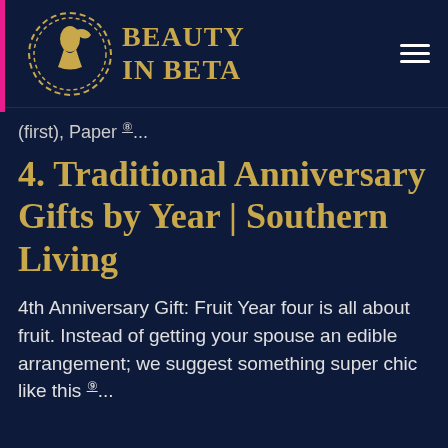Beauty In Beta
(first), Paper ⑧...
4. Traditional Anniversary Gifts by Year | Southern Living
4th Anniversary Gift: Fruit Year four is all about fruit. Instead of getting your spouse an edible arrangement; we suggest something super chic like this ⑨...